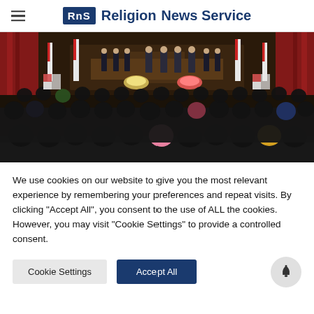RNS Religion News Service
[Figure (photo): A large formal assembly or parliamentary ceremony viewed from behind the audience. The hall is decorated with red and white flags and flowers. Officials stand on a raised dais at the front. A large crowd of seated attendees fills the foreground.]
We use cookies on our website to give you the most relevant experience by remembering your preferences and repeat visits. By clicking "Accept All", you consent to the use of ALL the cookies. However, you may visit "Cookie Settings" to provide a controlled consent.